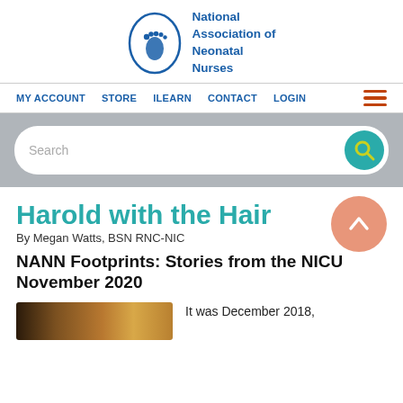National Association of Neonatal Nurses
[Figure (logo): NANN logo: oval with baby footprint in blue, beside text 'National Association of Neonatal Nurses']
MY ACCOUNT  STORE  ILEARN  CONTACT  LOGIN
Harold with the Hair
By Megan Watts, BSN RNC-NIC
NANN Footprints: Stories from the NICU November 2020
It was December 2018,